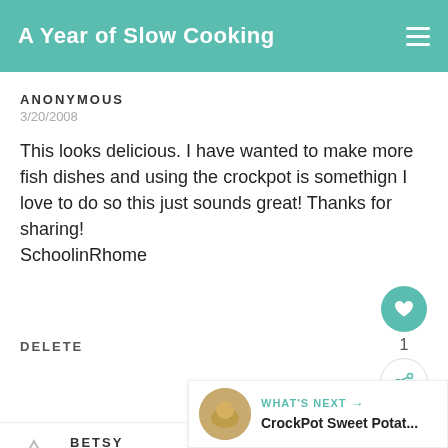A Year of Slow Cooking
ANONYMOUS
3/20/2008
This looks delicious. I have wanted to make more fish dishes and using the crockpot is somethign I love to do so this just sounds great! Thanks for sharing!
SchoolinRhome
DELETE
1
BETSY
3/20/2008
Looks very good!
WHAT'S NEXT → CrockPot Sweet Potat...